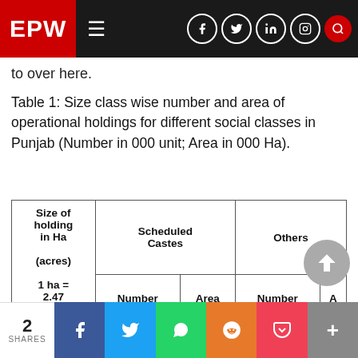EPW
to over here.
Table 1: Size class wise number and area of operational holdings for different social classes in Punjab (Number in 000 unit; Area in 000 Ha).
| Size of holding in Ha (acres)
1 ha = 2.47 acres | Scheduled Castes Number | Scheduled Castes Area | Others Number | Others Area |
| --- | --- | --- | --- | --- |
2 SHARES